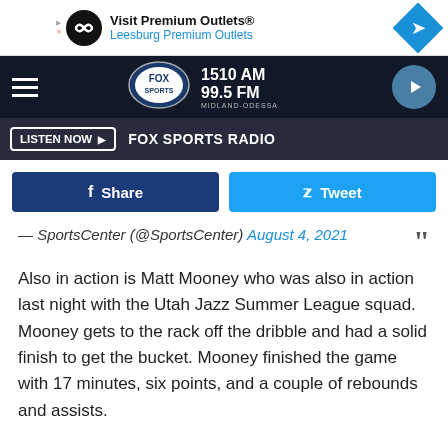[Figure (screenshot): Advertisement banner for Visit Premium Outlets / Leesburg Premium Outlets]
[Figure (logo): Fox Sports 1510 AM 99.5 FM Midland-Odessa radio station logo with navigation bar and play button]
[Figure (screenshot): Listen Now button bar with FOX SPORTS RADIO text]
[Figure (screenshot): Facebook Share and Twitter Tweet buttons]
— SportsCenter (@SportsCenter) August 4, 2021
Also in action is Matt Mooney who was also in action last night with the Utah Jazz Summer League squad. Mooney gets to the rack off the dribble and had a solid finish to get the bucket. Mooney finished the game with 17 minutes, six points, and a couple of rebounds and assists.